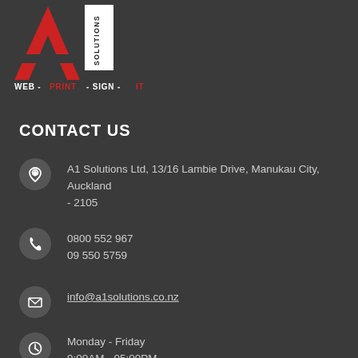[Figure (logo): A1 Solutions logo with large red A, white Solutions text block, and tagline WEB - PRINT - SIGN - IT]
CONTACT US
A1 Solutions Ltd, 13/16 Lambie Drive, Manukau City, Auckland - 2105
0800 552 967
09 550 5759
info@a1solutions.co.nz
Monday - Friday
9:00AM - 05:00PM

Weekend & After Hours
Appointment Only